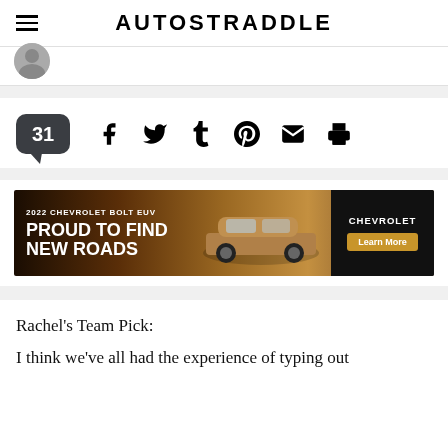AUTOSTRADDLE
[Figure (photo): Partial circular avatar/profile image at top left]
31
[Figure (infographic): Social sharing icons: Facebook, Twitter, Tumblr, Pinterest, Email, Print]
[Figure (photo): 2022 Chevrolet Bolt EUV advertisement banner. Text: '2022 CHEVROLET BOLT EUV', 'PROUD TO FIND NEW ROADS', Chevrolet logo, 'Learn More' button]
Rachel's Team Pick:
I think we've all had the experience of typing out